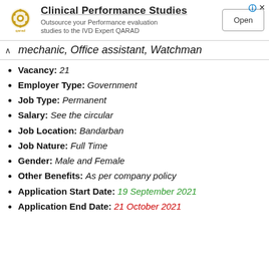[Figure (logo): QARAD company logo - gold/brown circular icon with 'qarad' text beneath]
Clinical Performance Studies
Outsource your Performance evaluation studies to the IVD Expert QARAD
Open
mechanic, Office assistant, Watchman
Vacancy: 21
Employer Type: Government
Job Type: Permanent
Salary: See the circular
Job Location: Bandarban
Job Nature: Full Time
Gender: Male and Female
Other Benefits: As per company policy
Application Start Date: 19 September 2021
Application End Date: 21 October 2021